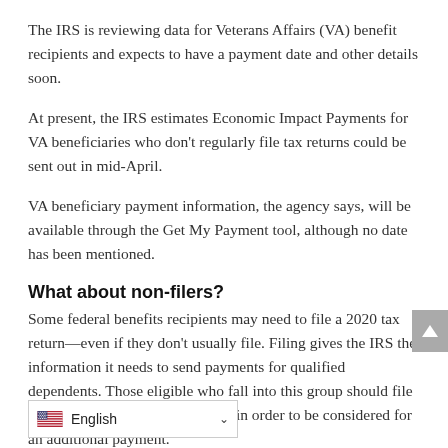The IRS is reviewing data for Veterans Affairs (VA) benefit recipients and expects to have a payment date and other details soon.
At present, the IRS estimates Economic Impact Payments for VA beneficiaries who don’t regularly file tax returns could be sent out in mid-April.
VA beneficiary payment information, the agency says, will be available through the Get My Payment tool, although no date has been mentioned.
What about non-filers?
Some federal benefits recipients may need to file a 2020 tax return—even if they don’t usually file. Filing gives the IRS the information it needs to send payments for qualified dependents. Those eligible who fall into this group should file a 2020 return as soon as possible in order to be considered for an additional payment.